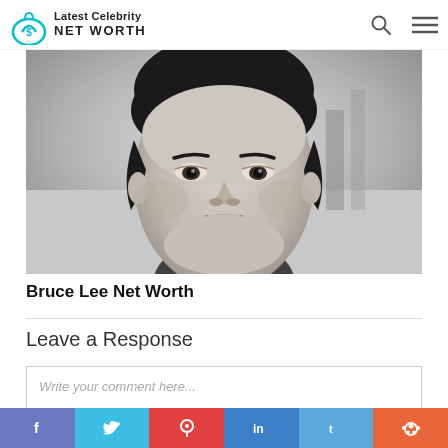Latest Celebrity NET WORTH
[Figure (photo): Black and white close-up portrait photo of Bruce Lee looking directly at camera]
Bruce Lee Net Worth
Leave a Response
Write your comment here...